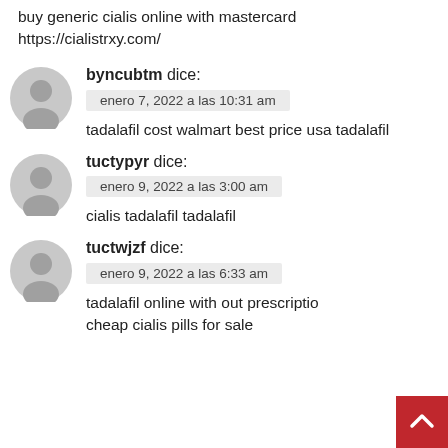buy generic cialis online with mastercard https://cialistrxy.com/
byncubtm dice:
enero 7, 2022 a las 10:31 am
tadalafil cost walmart best price usa tadalafil
tuctypyr dice:
enero 9, 2022 a las 3:00 am
cialis tadalafil tadalafil
tuctwjzf dice:
enero 9, 2022 a las 6:33 am
tadalafil online with out prescription cheap cialis pills for sale